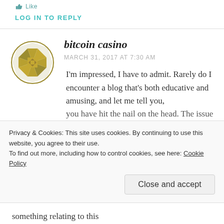Like
LOG IN TO REPLY
bitcoin casino
MARCH 31, 2017 AT 7:30 AM
I'm impressed, I have to admit. Rarely do I encounter a blog that's both educative and amusing, and let me tell you, you have hit the nail on the head. The issue is something relating to this
Privacy & Cookies: This site uses cookies. By continuing to use this website, you agree to their use. To find out more, including how to control cookies, see here: Cookie Policy
Close and accept